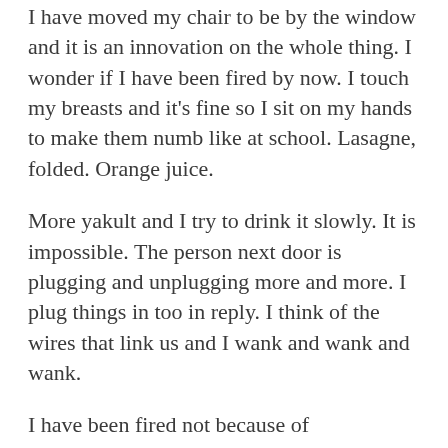I have moved my chair to be by the window and it is an innovation on the whole thing. I wonder if I have been fired by now. I touch my breasts and it's fine so I sit on my hands to make them numb like at school. Lasagne, folded. Orange juice.
More yakult and I try to drink it slowly. It is impossible. The person next door is plugging and unplugging more and more. I plug things in too in reply. I think of the wires that link us and I wank and wank and wank.
I have been fired not because of absenteeism but because of my twitter presence. The actual word wank was the final straw, they say in the email. I imagine my boss reading the word wank and I wank some more.
I imagine the person plugging and unplugging is the